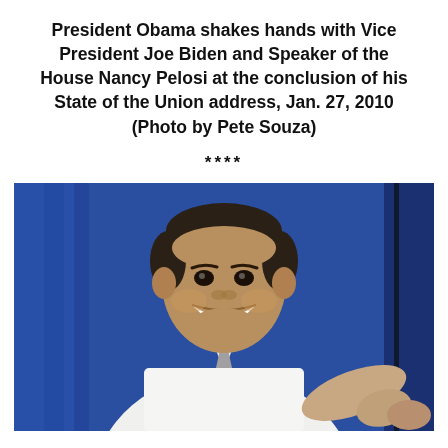President Obama shakes hands with Vice President Joe Biden and Speaker of the House Nancy Pelosi at the conclusion of his State of the Union address, Jan. 27, 2010 (Photo by Pete Souza)
****
[Figure (photo): A man in a white dress shirt and gray tie, smiling broadly, with his right arm extended outward as if gesturing or greeting. The background features blue curtains or draping.]